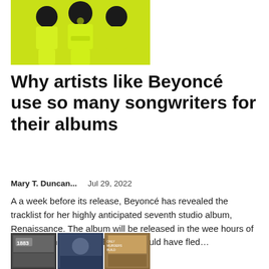[Figure (photo): People wearing neon yellow/green outfits, cropped at top of page]
Why artists like Beyoncé use so many songwriters for their albums
Mary T. Duncan...    Jul 29, 2022
A a week before its release, Beyoncé has revealed the tracklist for her highly anticipated seventh studio album, Renaissance. The album will be released in the wee hours of midnight on July 29, although it would have fled...
[Figure (photo): Collage of TV show thumbnails including 1883 and other series]